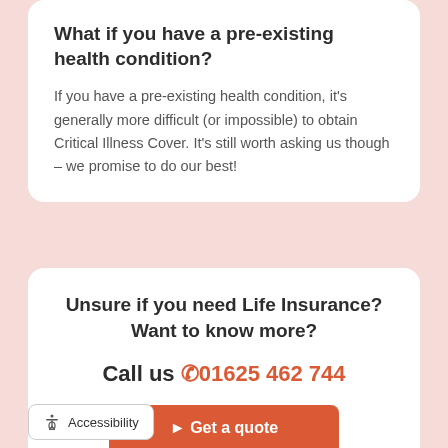What if you have a pre-existing health condition?
If you have a pre-existing health condition, it's generally more difficult (or impossible) to obtain Critical Illness Cover. It's still worth asking us though – we promise to do our best!
Unsure if you need Life Insurance? Want to know more?
Call us 01625 462 744
▶ Get a quote
✉ Email us
Accessibility